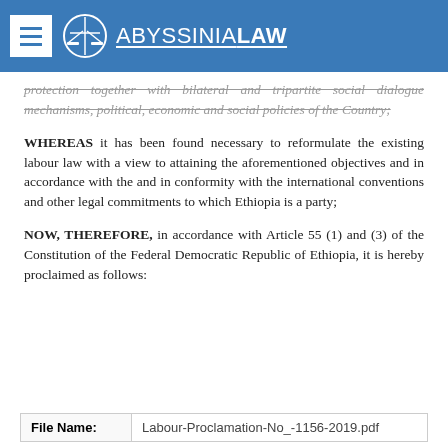ABYSSINIA LAW
protection together with bilateral and tripartite social dialogue mechanisms, political, economic and social policies of the Country;
WHEREAS it has been found necessary to reformulate the existing labour law with a view to attaining the aforementioned objectives and in accordance with the and in conformity with the international conventions and other legal commitments to which Ethiopia is a party;
NOW, THEREFORE, in accordance with Article 55 (1) and (3) of the Constitution of the Federal Democratic Republic of Ethiopia, it is hereby proclaimed as follows:
| File Name: |  |
| --- | --- |
| File Name: | Labour-Proclamation-No_-1156-2019.pdf |